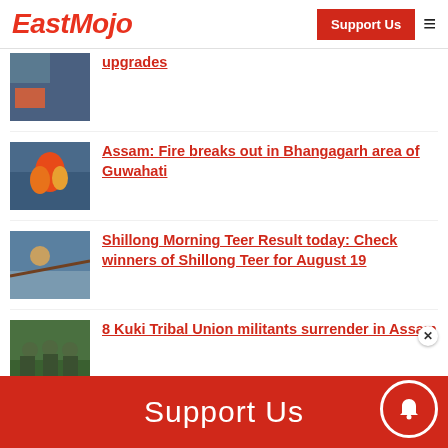EastMojo | Support Us
upgrades
Assam: Fire breaks out in Bhangagarh area of Guwahati
Shillong Morning Teer Result today: Check winners of Shillong Teer for August 19
8 Kuki Tribal Union militants surrender in Assam
Arunachal's Ziro Festival of Music is back. Here's all you need to know
Support Us